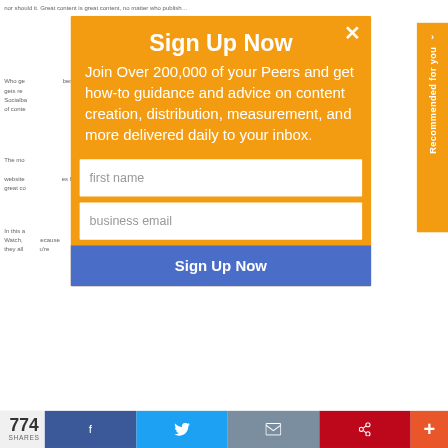nor should it. Great content is great content, no matter who publish…
Who ge… benefit… Buffe gets re… Socialba… piece of conte…
The mo… website… es have great co…
In this a… Watch, … because they all… u're
[Figure (screenshot): Sign Up Now modal popup with orange background over a dimmed article page. The modal contains the title 'Sign Up Now', body text 'Join Over 200,000 of your Peers and get how-to guidance and advice on content creation, distribution, measurement, and more delivered daily to your inbox.', a first name input field, a business email input field, and a blue 'Sign Up Now' button. An X close button is in the top right corner. A vertical orange 'Recommended for you >' sidebar tab is on the right edge.]
774 SHARES
[Figure (screenshot): Social share bar at the bottom showing 774 SHARES, Facebook, Twitter, email, Pinterest, and + buttons]